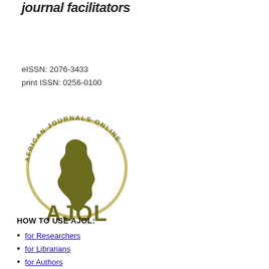journal facilitators
eISSN: 2076-3433
print ISSN: 0256-0100
[Figure (logo): African Journals Online (AJOL) logo — circular emblem with Africa continent silhouette and AJOL text below]
HOW TO USE AJOL:
for Researchers
for Librarians
for Authors
FAQ's